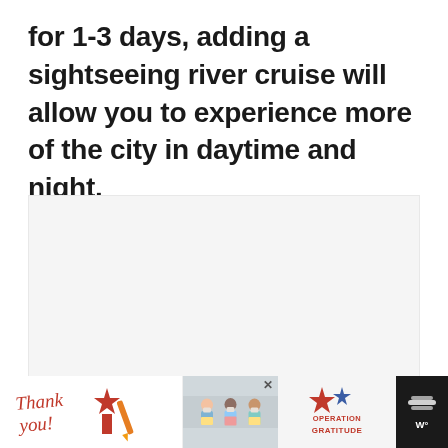for 1-3 days, adding a sightseeing river cruise will allow you to experience more of the city in daytime and night.
[Figure (photo): Large image area (appears blank/white in this view) showing a river cruise or city scene]
[Figure (screenshot): UI overlay with heart/favorite button (gold circle), share button (white circle), and 'What's Next' card showing '10 Best Day Trips from...']
[Figure (photo): Advertisement bar at bottom: 'Thank you!' Operation Gratitude ad showing medical workers holding cards, with weather widget on the right]